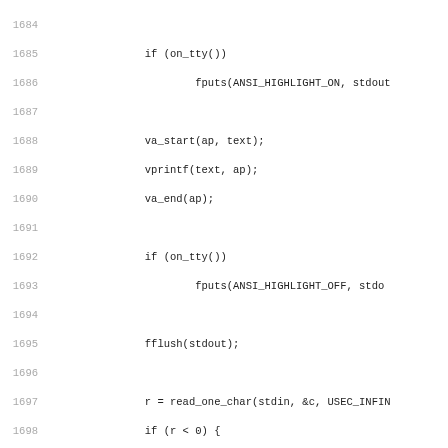[Figure (other): Source code listing (C language) showing lines 1684–1715, with line numbers on the left and code on the right. The code includes conditional checks, variable assignments, function calls such as fputs, vprintf, va_start, va_end, fflush, read_one_char, puts, putchar, return, and strchr.]